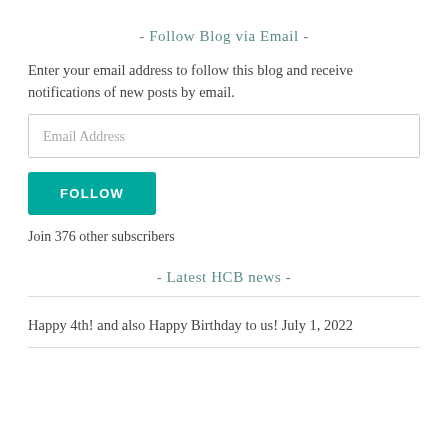- Follow Blog via Email -
Enter your email address to follow this blog and receive notifications of new posts by email.
[Figure (other): Email address input text field with placeholder text 'Email Address']
[Figure (other): Teal FOLLOW button]
Join 376 other subscribers
- Latest HCB news -
Happy 4th! and also Happy Birthday to us! July 1, 2022